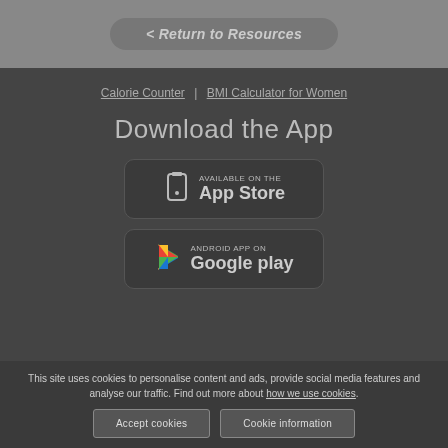< Return to Resources
Calorie Counter | BMI Calculator for Women
Download the App
[Figure (screenshot): App Store download button with phone icon]
[Figure (screenshot): Google Play download button with play icon]
This site uses cookies to personalise content and ads, provide social media features and analyse our traffic. Find out more about how we use cookies.
Accept cookies | Cookie information